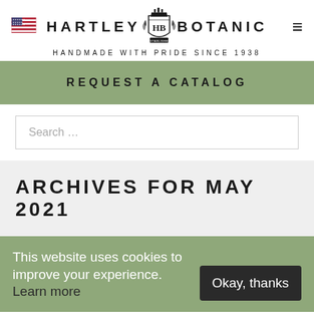HARTLEY BOTANIC — HANDMADE WITH PRIDE SINCE 1938
REQUEST A CATALOG
Search ...
ARCHIVES FOR MAY 2021
This website uses cookies to improve your experience. Learn more
Okay, thanks